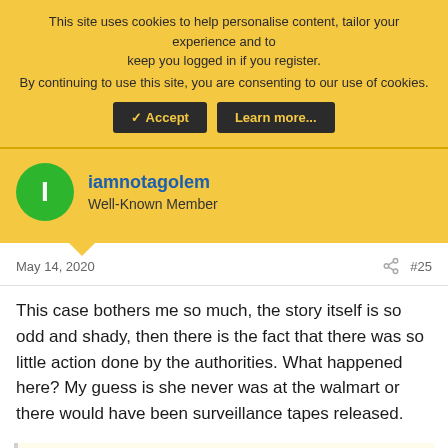This site uses cookies to help personalise content, tailor your experience and to keep you logged in if you register.
By continuing to use this site, you are consenting to our use of cookies.
iamnotagolem
Well-Known Member
May 14, 2020
#25
This case bothers me so much, the story itself is so odd and shady, then there is the fact that there was so little action done by the authorities. What happened here? My guess is she never was at the walmart or there would have been surveillance tapes released.
MagnoliaMountain, Jim_M and ADKGemini